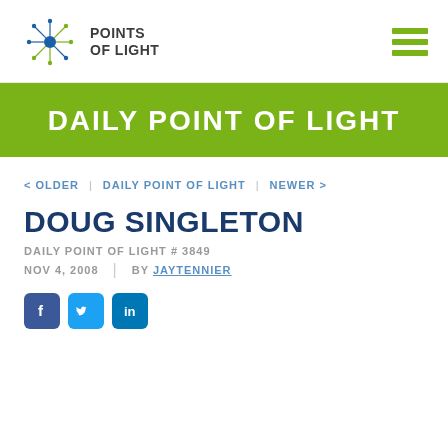POINTS OF LIGHT
DAILY POINT OF LIGHT
< OLDER | DAILY POINT OF LIGHT | NEWER >
DOUG SINGLETON
DAILY POINT OF LIGHT # 3849
NOV 4, 2008 | BY JAYTENNIER
[Figure (other): Social media icons: Facebook, Twitter, LinkedIn]